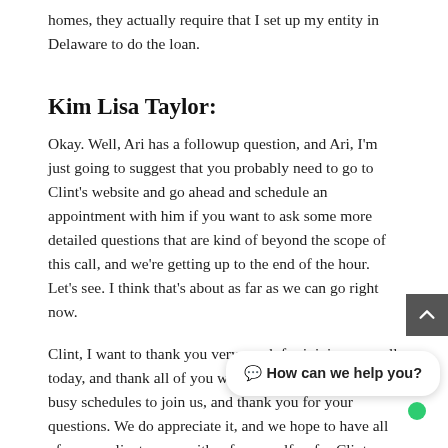homes, they actually require that I set up my entity in Delaware to do the loan.
Kim Lisa Taylor:
Okay. Well, Ari has a followup question, and Ari, I'm just going to suggest that you probably need to go to Clint's website and go ahead and schedule an appointment with him if you want to ask some more detailed questions that are kind of beyond the scope of this call, and we're getting up to the end of the hour. Let's see. I think that's about as far as we can go right now.
Clint, I want to thank you very much for joining our call today, and thank all of you who took time out of your busy schedules to join us, and thank you for your questions. We do appreciate it, and we hope to have all of you as clients soon, either for myself or for Clint or for both of us. So, thanks so much, and we look forward